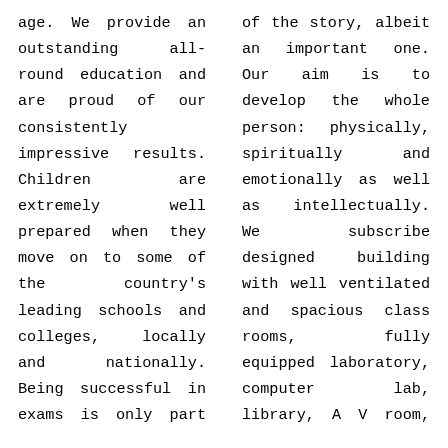age. We provide an outstanding all-round education and are proud of our consistently impressive results. Children are extremely well prepared when they move on to some of the country's leading schools and colleges, locally and nationally. Being successful in exams is only part of the story, albeit an important one. Our aim is to develop the whole person: physically, spiritually and emotionally as well as intellectually. We subscribe designed building with well ventilated and spacious class rooms, fully equipped laboratory, computer lab, library, A V room, vast playground for various outdoor games etc. The School which was started with pre-primary classes now offers education up to and including class X in both I C S E and State Board. An English medium School, the students also learn Hindi and Kannada. The School emphasizes an integral approach to education